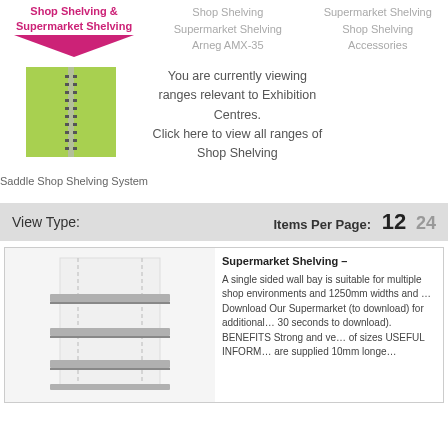Shop Shelving & Supermarket Shelving | Shop Shelving Supermarket Shelving Arneg AMX-35 | Supermarket Shelving Shop Shelving Accessories
[Figure (photo): Green panel with zipper track - Saddle Shop Shelving System product image]
Saddle Shop Shelving System
You are currently viewing ranges relevant to Exhibition Centres. Click here to view all ranges of Shop Shelving
View Type:          Items Per Page:  12  24
[Figure (photo): White wall shelving unit with multiple grey shelves - Supermarket Shelving product image]
Supermarket Shelving - A single sided wall bay is suitable for multiple shop environments and 1250mm widths and ... Download Our Supermarket (to download) for additional... 30 seconds to download). BENEFITS Strong and ve... of sizes USEFUL INFORM... are supplied 10mm longe...